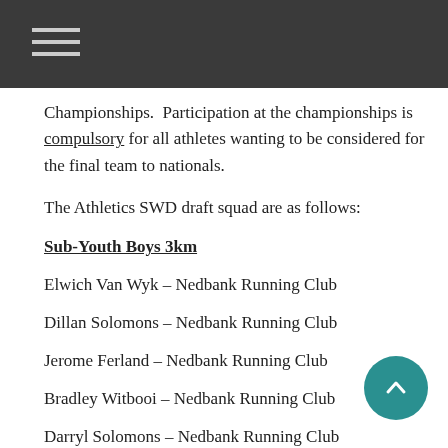Championships.  Participation at the championships is compulsory for all athletes wanting to be considered for the final team to nationals.
The Athletics SWD draft squad are as follows:
Sub-Youth Boys 3km
Elwich Van Wyk – Nedbank Running Club
Dillan Solomons – Nedbank Running Club
Jerome Ferland – Nedbank Running Club
Bradley Witbooi – Nedbank Running Club
Darryl Solomons – Nedbank Running Club
Men 10km
Hennie Koster – Hartenbos Drawwers – 60